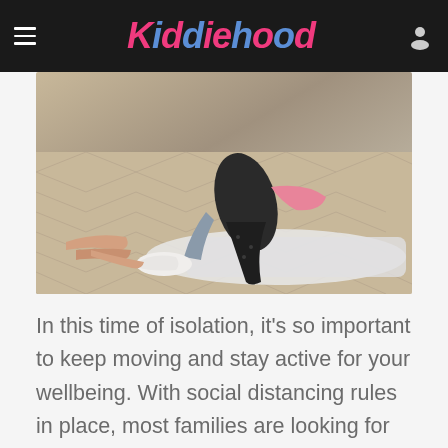Kiddiehood
[Figure (photo): Adult helping a child stretch on a wooden parquet floor, with a yoga mat visible]
In this time of isolation, it’s so important to keep moving and stay active for your wellbeing. With social distancing rules in place, most families are looking for online exercise classes they can join from the comfort of their home. There’s a huge variety of free online classes to choose from including kids workouts, mind-body classes and high-intensity training.